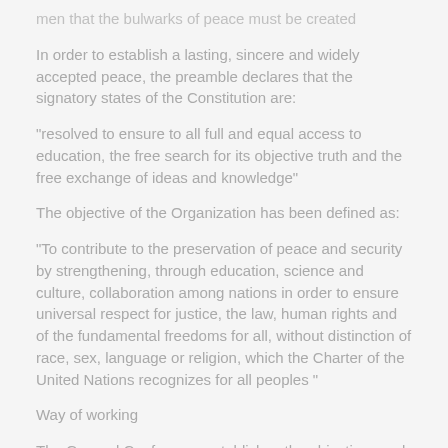men that the bulwarks of peace must be created
In order to establish a lasting, sincere and widely accepted peace, the preamble declares that the signatory states of the Constitution are:
“resolved to ensure to all full and equal access to education, the free search for its objective truth and the free exchange of ideas and knowledge”
The objective of the Organization has been defined as:
“To contribute to the preservation of peace and security by strengthening, through education, science and culture, collaboration among nations in order to ensure universal respect for justice, the law, human rights and of the fundamental freedoms for all, without distinction of race, sex, language or religion, which the Charter of the United Nations recognizes for all peoples ”
Way of working
The General Conference establishes the objectives and priorities of the Organization every two years and sets the budget to meet them. The Executive Council meets twice a year to review compliance with the program.